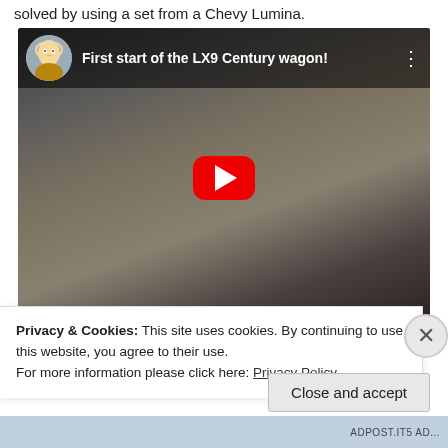solved by using a set from a Chevy Lumina.
[Figure (screenshot): YouTube video thumbnail showing a car engine bay. The video title reads 'First start of the LX9 Century wagon!' with a channel avatar and play button overlay.]
Privacy & Cookies: This site uses cookies. By continuing to use this website, you agree to their use.
For more information please click here: Privacy Policy
Close and accept